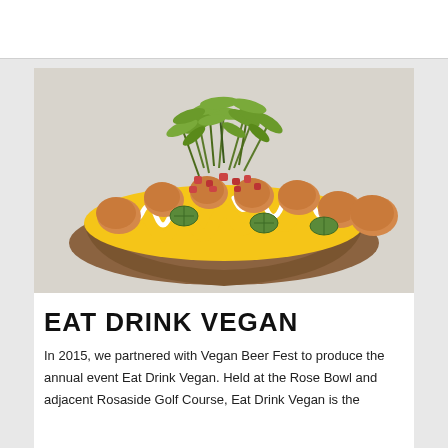[Figure (photo): A bowl of vegan loaded tots/fries topped with yellow cheese sauce, white cream drizzle, jalapeños, diced tomatoes, and fresh microgreens/sprouts, served in a brown paper boat container on a light gray background.]
EAT DRINK VEGAN
In 2015, we partnered with Vegan Beer Fest to produce the annual event Eat Drink Vegan. Held at the Rose Bowl and adjacent Rose baside Golf Course, Eat Drink Vegan is the